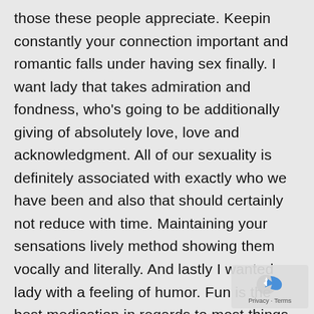those these people appreciate. Keepin constantly your connection important and romantic falls under having sex finally. I want lady that takes admiration and fondness, who's going to be additionally giving of absolutely love, love and acknowledgment. All of our sexuality is definitely associated with exactly who we have been and also that should certainly not reduce with time. Maintaining your sensations lively method showing them vocally and literally. And lastly I wanted lady with a feeling of humor. Fun is the best medication in regards to most things, but particularly interaction. Somebody who is pleased in order to have fun, enjoy and laugh with me is actually anybody well worth stick with.
[Figure (logo): Privacy and Terms watermark logo in bottom right corner with blue arrow icon]